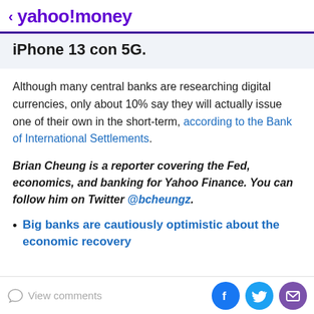< yahoo!money
iPhone 13 con 5G.
Although many central banks are researching digital currencies, only about 10% say they will actually issue one of their own in the short-term, according to the Bank of International Settlements.
Brian Cheung is a reporter covering the Fed, economics, and banking for Yahoo Finance. You can follow him on Twitter @bcheungz.
Big banks are cautiously optimistic about the economic recovery
View comments